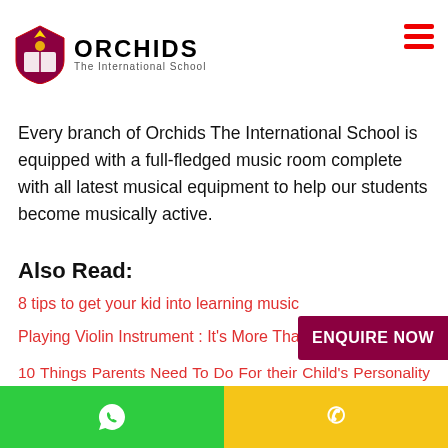ORCHIDS The International School
Every branch of Orchids The International School is equipped with a full-fledged music room complete with all latest musical equipment to help our students become musically active.
Also Read:
8 tips to get your kid into learning music
Playing Violin Instrument : It's More Than Just Music!
10 Things Parents Need To Do For their Child's Personality Development
WhatsApp | Phone